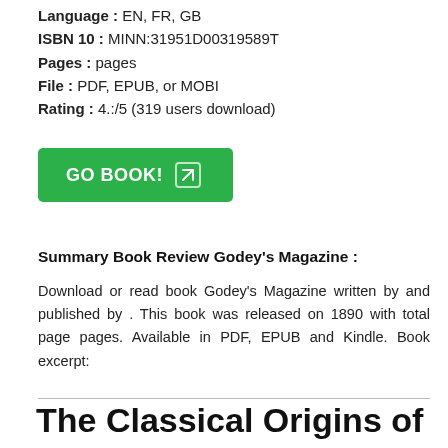Language : EN, FR, GB
ISBN 10 : MINN:31951D00319589T
Pages : pages
File : PDF, EPUB, or MOBI
Rating : 4.:/5 (319 users download)
[Figure (other): Green 'GO BOOK!' button with arrow icon]
Summary Book Review Godey's Magazine :
Download or read book Godey's Magazine written by and published by . This book was released on 1890 with total page pages. Available in PDF, EPUB and Kindle. Book excerpt:
The Classical Origins of